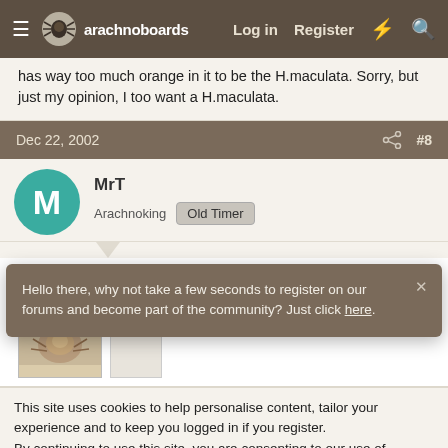arachnoboards — Log in | Register
has way too much orange in it to be the H.maculata. Sorry, but just my opinion, I too want a H.maculata.
Dec 22, 2002   #8
MrT
Arachnoking  Old Timer
This is a better pic
Attachments
[Figure (photo): Attachment photo thumbnail of what appears to be a tarantula]
Hello there, why not take a few seconds to register on our forums and become part of the community? Just click here.
This site uses cookies to help personalise content, tailor your experience and to keep you logged in if you register.
By continuing to use this site, you are consenting to our use of cookies.
✓ Accept   Learn more...